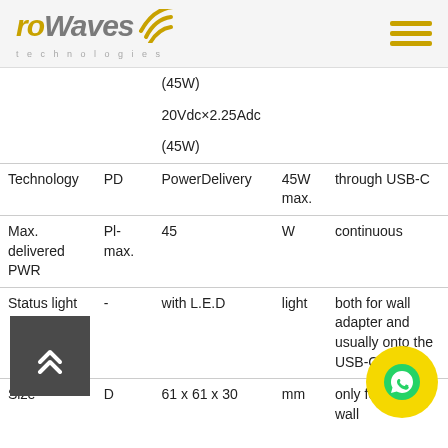roWaves technologies
|  |  |  |  |  |
| --- | --- | --- | --- | --- |
|  |  | (45W) |  |  |
|  |  | 20Vdc×2.25Adc |  |  |
|  |  | (45W) |  |  |
| Technology | PD | PowerDelivery | 45W max. | through USB-C |
| Max. delivered PWR | Pl-max. | 45 | W | continuous |
| Status light | - | with L.E.D | light | both for wall adapter and usually onto the USB-C cabl… |
| Size | D | 61 x 61 x 30 | mm | only for BL-PL4 wall |